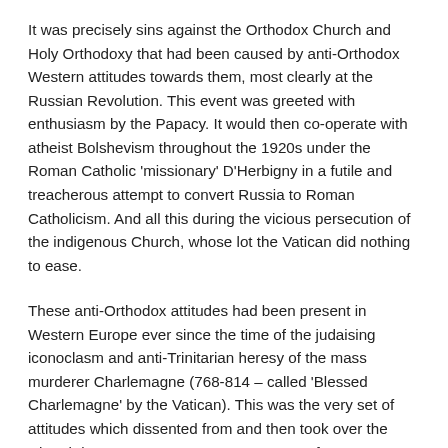It was precisely sins against the Orthodox Church and Holy Orthodoxy that had been caused by anti-Orthodox Western attitudes towards them, most clearly at the Russian Revolution. This event was greeted with enthusiasm by the Papacy. It would then co-operate with atheist Bolshevism throughout the 1920s under the Roman Catholic 'missionary' D'Herbigny in a futile and treacherous attempt to convert Russia to Roman Catholicism. And all this during the vicious persecution of the indigenous Church, whose lot the Vatican did nothing to ease.
These anti-Orthodox attitudes had been present in Western Europe ever since the time of the judaising iconoclasm and anti-Trinitarian heresy of the mass murderer Charlemagne (768-814 – called 'Blessed Charlemagne' by the Vatican). This was the very set of attitudes which dissented from and then took over the Church in Western Europe. By a process of despiritualisation, they evolved into Roman Catholicism in the eleventh century, into Protestantism in the sixteenth century.